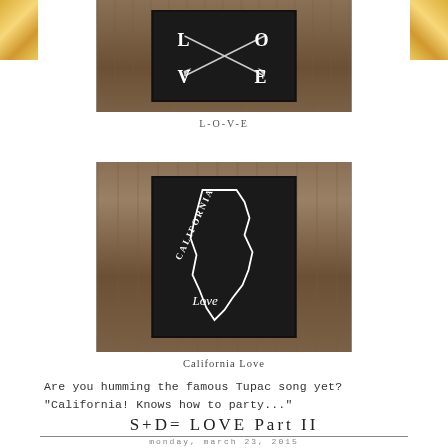[Figure (photo): Chalkboard sign with LOVE text and arrows on rustic wood background]
L-O-V-E
[Figure (photo): Chalkboard sign with California Love script on rustic wood background]
California Love
Are you humming the famous Tupac song yet? "California! Knows how to party..."
S+D= LOVE Part II
monday, march 23, 2015